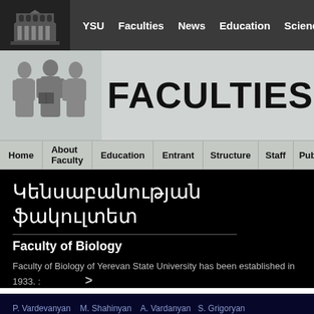YSU  Faculties  News  Education  Science  Student  M
[Figure (screenshot): YSU website banner with FACULTIES heading and silhouette figures holding a book]
Home  About Faculty  Education  Entrant  Structure  Staff  Publicati
Կենսաբանության ֆակուլտետ
Faculty of Biology
Faculty of Biology of Yerevan State University has been established in 1933. :
P. Vardevanyan  M. Shahinyan  A. Vardanyan  S. Grigoryan
Study of Interaction of Hoechst 33258 with DNA And Human Serum Albumin Ofmillimeter Range Electromagnetic Waves
Կարեն Գրիգորյան  Զարուհի Վարդանյան  Վ. Հովսեփյան
Փակուլտեte եւ oquyuuGtuuuh qEhtpuyohti oquliletpu